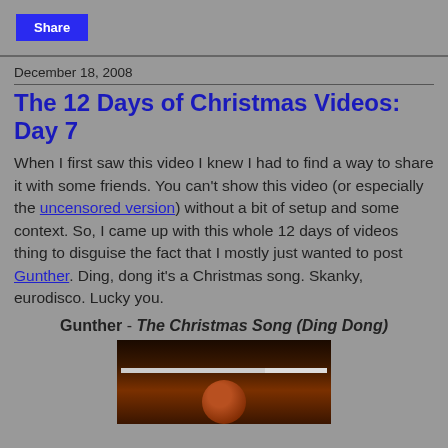Share
December 18, 2008
The 12 Days of Christmas Videos: Day 7
When I first saw this video I knew I had to find a way to share it with some friends. You can't show this video (or especially the uncensored version) without a bit of setup and some context. So, I came up with this whole 12 days of videos thing to disguise the fact that I mostly just wanted to post Gunther. Ding, dong it's a Christmas song. Skanky, eurodisco. Lucky you.
Gunther - The Christmas Song (Ding Dong)
[Figure (screenshot): A video player thumbnail showing a dark image of a person's face with an orange/warm toned lighting, with a white progress/scrubber bar near the top of the player.]